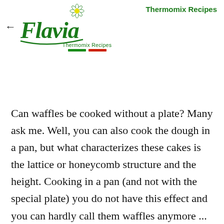Thermomix Recipes
[Figure (logo): Flavia Thermomix Recipes logo with cursive green Flavia text, daisy flower, and Italian flag colored bars under tagline]
Can waffles be cooked without a plate? Many ask me. Well, you can also cook the dough in a pan, but what characterizes these cakes is the lattice or honeycomb structure and the height. Cooking in a pan (and not with the special plate) you do not have this effect and you can hardly call them waffles anymore ...